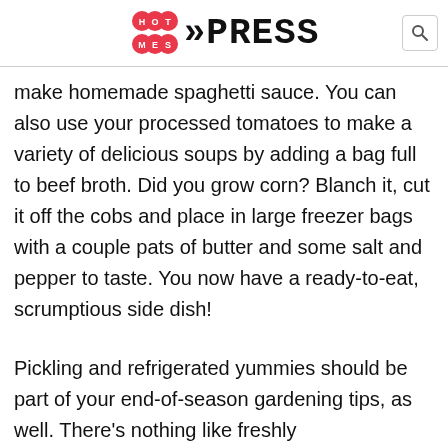HOTHPRESS
make homemade spaghetti sauce. You can also use your processed tomatoes to make a variety of delicious soups by adding a bag full to beef broth. Did you grow corn? Blanch it, cut it off the cobs and place in large freezer bags with a couple pats of butter and some salt and pepper to taste. You now have a ready-to-eat, scrumptious side dish!
Pickling and refrigerated yummies should be part of your end-of-season gardening tips, as well. There's nothing like freshly